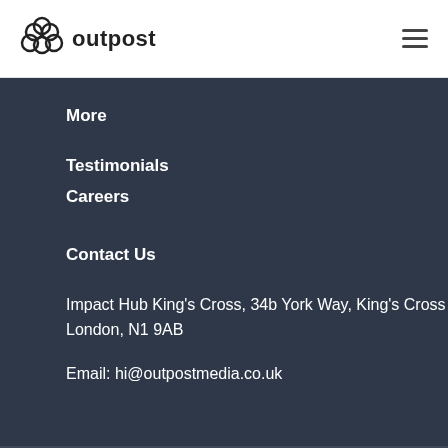outpost
More
Testimonials
Careers
Contact Us
Impact Hub King's Cross, 34b York Way, King's Cross
London, N1 9AB
Email: hi@outpostmedia.co.uk